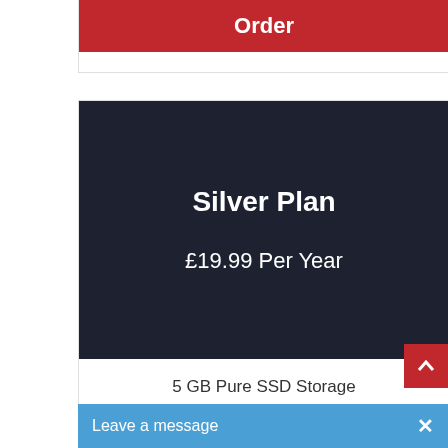Order
Silver Plan
£19.99 Per Year
5 GB Pure SSD Storage
Unlimited bandwidth
Host Unlimited
Leave a message